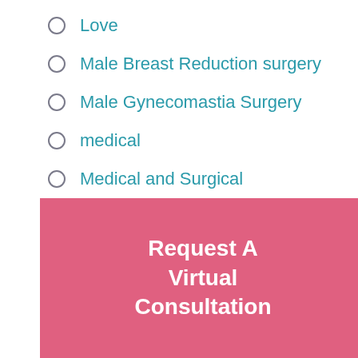Love
Male Breast Reduction surgery
Male Gynecomastia Surgery
medical
Medical and Surgical
Men Only!
Merry Christmas
Mommy Makeover
Mommy Makeovers
Monsplasty
Request A Virtual Consultation